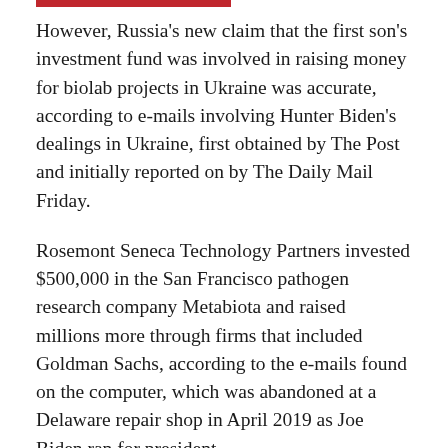However, Russia's new claim that the first son's investment fund was involved in raising money for biolab projects in Ukraine was accurate, according to e-mails involving Hunter Biden's dealings in Ukraine, first obtained by The Post and initially reported on by The Daily Mail Friday.
Rosemont Seneca Technology Partners invested $500,000 in the San Francisco pathogen research company Metabiota and raised millions more through firms that included Goldman Sachs, according to the e-mails found on the computer, which was abandoned at a Delaware repair shop in April 2019 as Joe Biden ran for president.
Hunter introduced Metabiota to officials at Burisma, the Ukrainian company that employed him on its board.